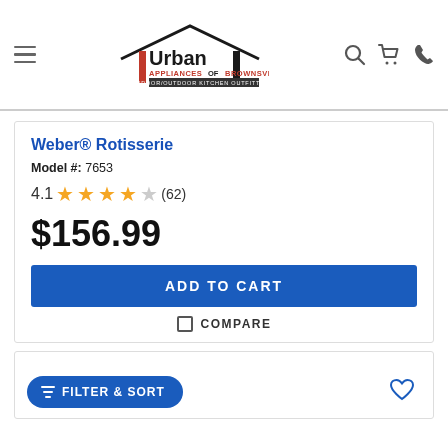[Figure (logo): Urban Appliances of Brownsville logo with house roof graphic, red and black text, Indoor/Outdoor Kitchen Outfitters tagline, a Para Corporation]
Weber® Rotisserie
Model #: 7653
4.1 ★★★★☆ (62)
$156.99
ADD TO CART
COMPARE
FILTER & SORT